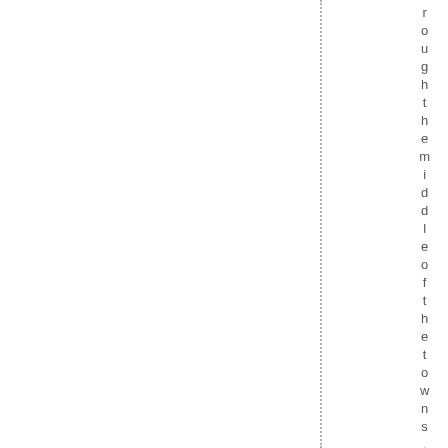roughthemiddleofthetowns. Inter